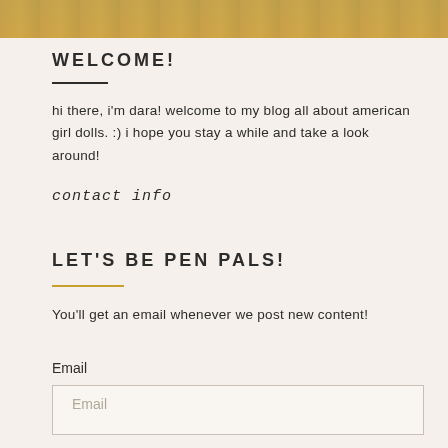[Figure (photo): Partial photo of a person at top of page, cropped with golden/warm tones]
WELCOME!
hi there, i'm dara! welcome to my blog all about american girl dolls. :) i hope you stay a while and take a look around!
contact info
LET'S BE PEN PALS!
You'll get an email whenever we post new content!
Email
Email